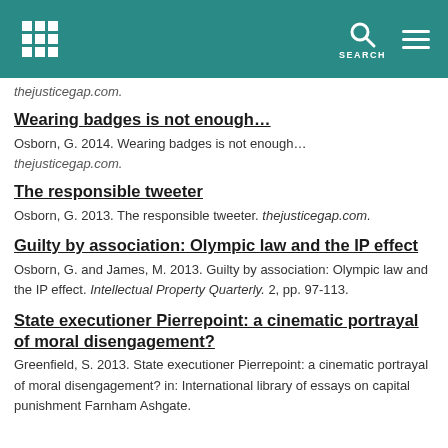thejusticegap.com [navigation header with search]
thejusticegap.com.
Wearing badges is not enough…
Osborn, G. 2014. Wearing badges is not enough…
thejusticegap.com.
The responsible tweeter
Osborn, G. 2013. The responsible tweeter. thejusticegap.com.
Guilty by association: Olympic law and the IP effect
Osborn, G. and James, M. 2013. Guilty by association: Olympic law and the IP effect. Intellectual Property Quarterly. 2, pp. 97-113.
State executioner Pierrepoint: a cinematic portrayal of moral disengagement?
Greenfield, S. 2013. State executioner Pierrepoint: a cinematic portrayal of moral disengagement? in: International library of essays on capital punishment Farnham Ashgate.